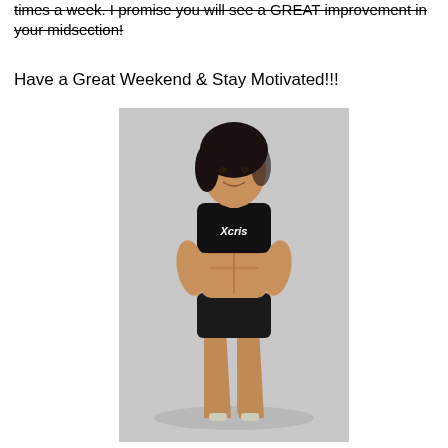times a week. I promise you will see a GREAT improvement in your midsection!
Have a Great Weekend & Stay Motivated!!!
[Figure (photo): A fit woman with dark hair wearing a black crop top with 'Xcris' logo and black shorts, posing with hands on hips showing toned midsection, photographed against a light grey background.]